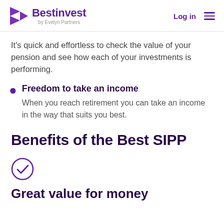Bestinvest by Evelyn Partners — Log in
It's quick and effortless to check the value of your pension and see how each of your investments is performing.
Freedom to take an income — When you reach retirement you can take an income in the way that suits you best.
Benefits of the Best SIPP
[Figure (illustration): Purple circle checkmark icon]
Great value for money